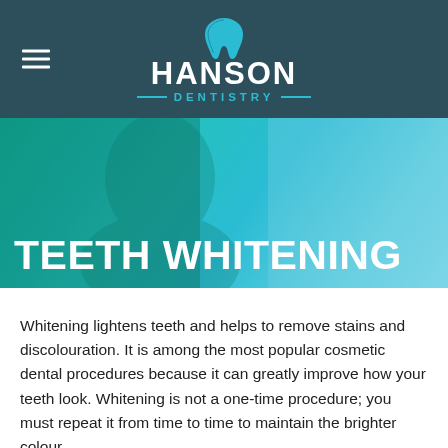[Figure (logo): Hanson Dentistry logo with tooth icon, white HANSON text, and teal DENTISTRY text with decorative lines on dark teal background]
[Figure (photo): Hero banner with teal/cyan gradient overlay showing smiling person, with large white bold text TEETH WHITENING]
TEETH WHITENING
Whitening lightens teeth and helps to remove stains and discolouration. It is among the most popular cosmetic dental procedures because it can greatly improve how your teeth look. Whitening is not a one-time procedure; you must repeat it from time to time to maintain the brighter colour.